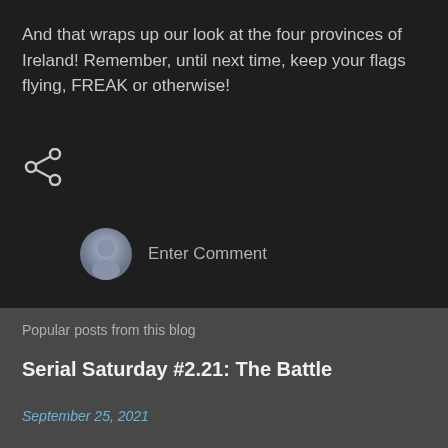And that wraps up our look at the four provinces of Ireland! Remember, until next time, keep your flags flying, FREAK or otherwise!
[Figure (illustration): Share icon (arrow pointing left with three dots)]
[Figure (illustration): Generic user avatar circle with silhouette, next to 'Enter Comment' placeholder text]
Popular posts from this blog
Serial Saturday #2.21: The Battle
September 25, 2021